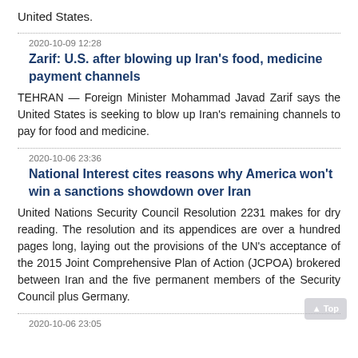United States.
2020-10-09 12:28
Zarif: U.S. after blowing up Iran's food, medicine payment channels
TEHRAN — Foreign Minister Mohammad Javad Zarif says the United States is seeking to blow up Iran's remaining channels to pay for food and medicine.
2020-10-06 23:36
National Interest cites reasons why America won't win a sanctions showdown over Iran
United Nations Security Council Resolution 2231 makes for dry reading. The resolution and its appendices are over a hundred pages long, laying out the provisions of the UN's acceptance of the 2015 Joint Comprehensive Plan of Action (JCPOA) brokered between Iran and the five permanent members of the Security Council plus Germany.
2020-10-06 23:05